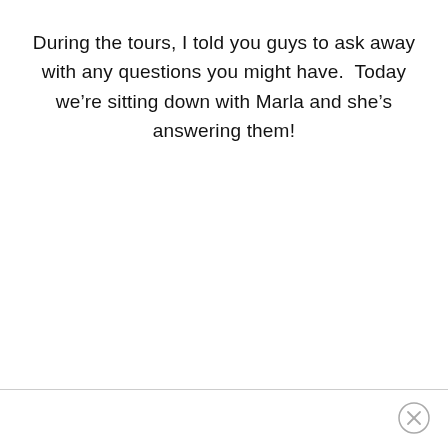During the tours, I told you guys to ask away with any questions you might have.  Today we're sitting down with Marla and she's answering them!